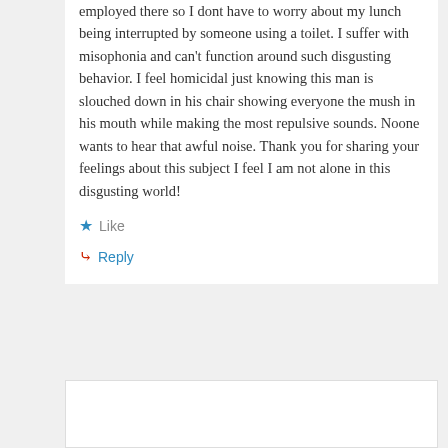employed there so I dont have to worry about my lunch being interrupted by someone using a toilet. I suffer with misophonia and can't function around such disgusting behavior. I feel homicidal just knowing this man is slouched down in his chair showing everyone the mush in his mouth while making the most repulsive sounds. Noone wants to hear that awful noise. Thank you for sharing your feelings about this subject I feel I am not alone in this disgusting world!
Like
Reply